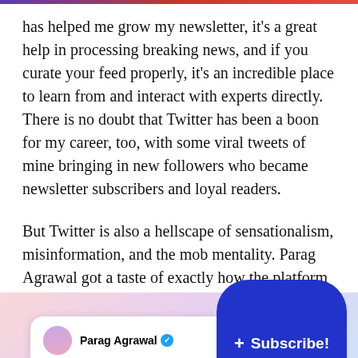has helped me grow my newsletter, it's a great help in processing breaking news, and if you curate your feed properly, it's an incredible place to learn from and interact with experts directly. There is no doubt that Twitter has been a boon for my career, too, with some viral tweets of mine bringing in new followers who became newsletter subscribers and loyal readers.
But Twitter is also a hellscape of sensationalism, misinformation, and the mob mentality. Parag Agrawal got a taste of exactly how the platform works on his first day, when some users dug up this 11 year old tweet:
[Figure (screenshot): Partial screenshot of a tweet by Parag Agrawal with a blue verified checkmark, showing the beginning of a tweet card with gradient background]